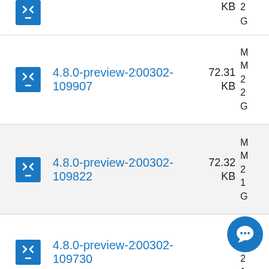4.8.0-preview-200302-109907 72.31 KB
4.8.0-preview-200302-109822 72.32 KB
4.8.0-preview-200302-109730 KB